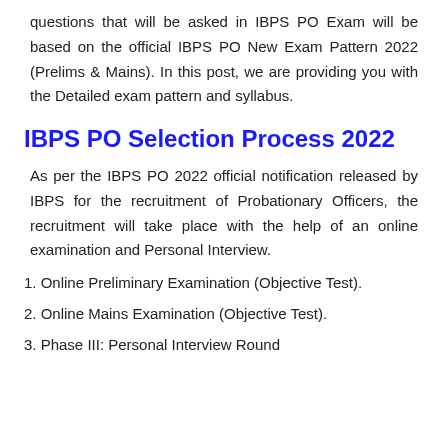questions that will be asked in IBPS PO Exam will be based on the official IBPS PO New Exam Pattern 2022 (Prelims & Mains). In this post, we are providing you with the Detailed exam pattern and syllabus.
IBPS PO Selection Process 2022
As per the IBPS PO 2022 official notification released by IBPS for the recruitment of Probationary Officers, the recruitment will take place with the help of an online examination and Personal Interview.
1. Online Preliminary Examination (Objective Test).
2. Online Mains Examination (Objective Test).
3. Phase III: Personal Interview Round